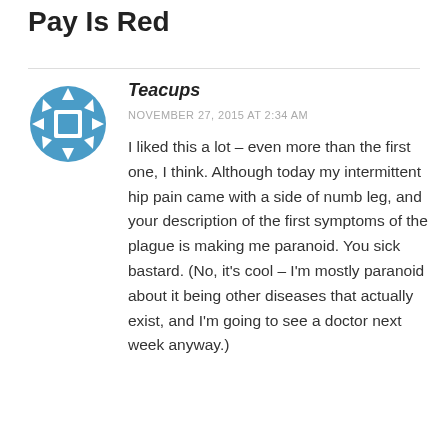Pay Is Red
Teacups
NOVEMBER 27, 2015 AT 2:34 AM
I liked this a lot – even more than the first one, I think. Although today my intermittent hip pain came with a side of numb leg, and your description of the first symptoms of the plague is making me paranoid. You sick bastard. (No, it's cool – I'm mostly paranoid about it being other diseases that actually exist, and I'm going to see a doctor next week anyway.)